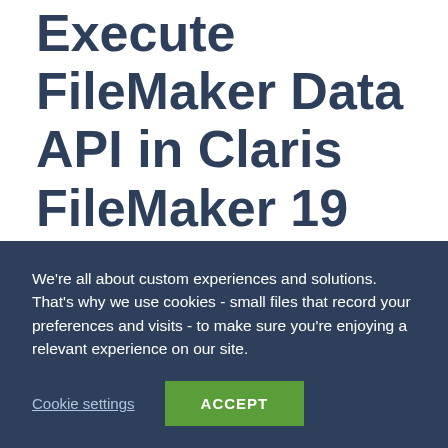Execute FileMaker Data API in Claris FileMaker 19
June 3, 2020 / in Blog / by Sarah Stickfort
How to Execute FileMaker Data API
We’re all about custom experiences and solutions. That’s why we use cookies - small files that record your preferences and visits - to make sure you’re enjoying a relevant experience on our site.
Cookie settings   ACCEPT